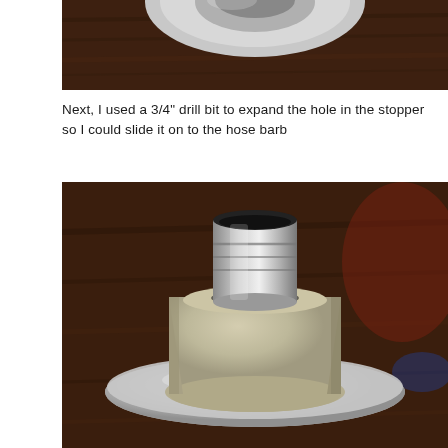[Figure (photo): Partial top view of a metal disk or lid with a circular opening, on a wooden surface, cropped at top of page.]
Next, I used a 3/4" drill bit to expand the hole in the stopper so I could slide it on to the hose barb
[Figure (photo): A rubber stopper (tan/beige, truncated cone shape) with a metallic hose barb inserted through its center hole, resting on a shiny metal disk, on a wooden table surface.]